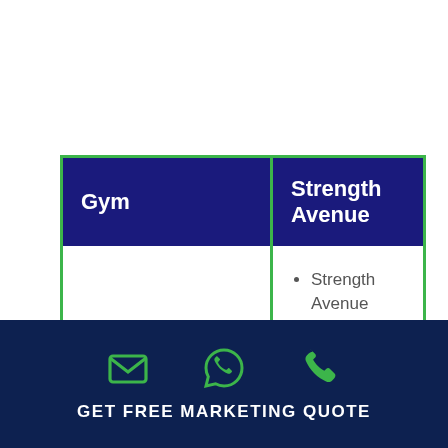| Gym | Strength Avenue |
| --- | --- |
| Speciality | Strength Avenue believes that all people can benefit from being stronger
Their focus on form and technique means that their training is safe for people of all shapes, sizes and ages |
[Figure (infographic): Footer with email, WhatsApp, and phone icons in green on dark navy background, with text GET FREE MARKETING QUOTE]
GET FREE MARKETING QUOTE